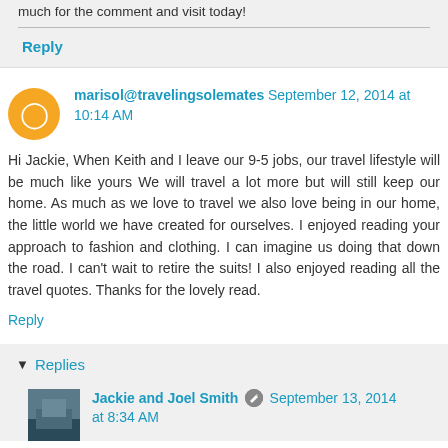much for the comment and visit today!
Reply
marisol@travelingsolemates September 12, 2014 at 10:14 AM
Hi Jackie, When Keith and I leave our 9-5 jobs, our travel lifestyle will be much like yours We will travel a lot more but will still keep our home. As much as we love to travel we also love being in our home, the little world we have created for ourselves. I enjoyed reading your approach to fashion and clothing. I can imagine us doing that down the road. I can't wait to retire the suits! I also enjoyed reading all the travel quotes. Thanks for the lovely read.
Reply
Replies
Jackie and Joel Smith September 13, 2014 at 8:34 AM